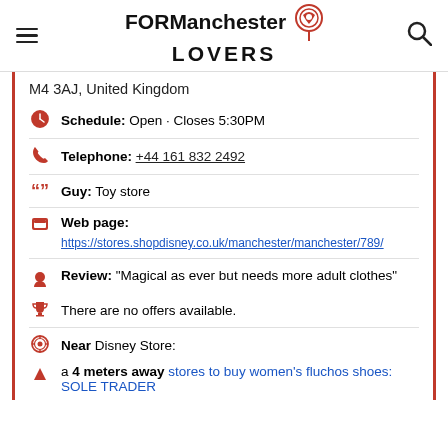FOR Manchester LOVERS
M4 3AJ, United Kingdom
Schedule: Open · Closes 5:30PM
Telephone: +44 161 832 2492
Guy: Toy store
Web page:
https://stores.shopdisney.co.uk/manchester/manchester/789/
Review: "Magical as ever but needs more adult clothes"
There are no offers available.
Near Disney Store:
a 4 meters away stores to buy women's fluchos shoes: SOLE TRADER